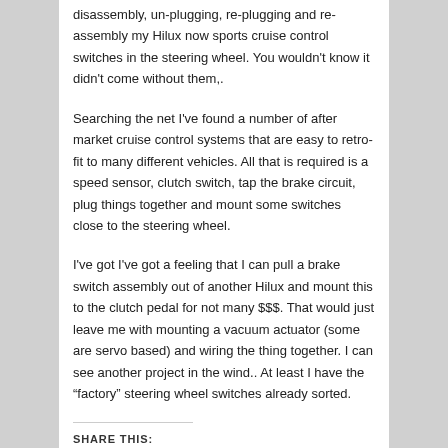disassembly, un-plugging, re-plugging and re-assembly my Hilux now sports cruise control switches in the steering wheel.  You wouldn't know it didn't come without them,.
Searching the net I've found a number of after market cruise control systems that are easy to retro-fit to many different vehicles.  All that is required is a speed sensor, clutch switch, tap the brake circuit, plug things together and mount some switches close to the steering wheel.
I've got I've got a feeling that I can pull a brake switch assembly out of another Hilux and mount this to the clutch pedal for not many $$$.   That would just leave me with mounting a vacuum actuator (some are servo based) and wiring the thing together.   I can see another project in the wind..  At least I have the “factory” steering wheel switches already sorted.
SHARE THIS: